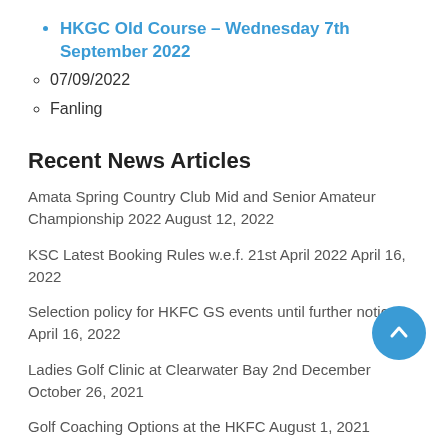HKGC Old Course – Wednesday 7th September 2022
07/09/2022
Fanling
Recent News Articles
Amata Spring Country Club Mid and Senior Amateur Championship 2022 August 12, 2022
KSC Latest Booking Rules w.e.f. 21st April 2022 April 16, 2022
Selection policy for HKFC GS events until further notice April 16, 2022
Ladies Golf Clinic at Clearwater Bay 2nd December October 26, 2021
Golf Coaching Options at the HKFC August 1, 2021